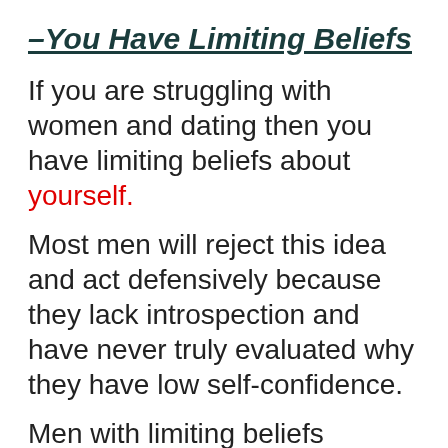–You Have Limiting Beliefs
If you are struggling with women and dating then you have limiting beliefs about yourself.
Most men will reject this idea and act defensively because they lack introspection and have never truly evaluated why they have low self-confidence.
Men with limiting beliefs usuall...